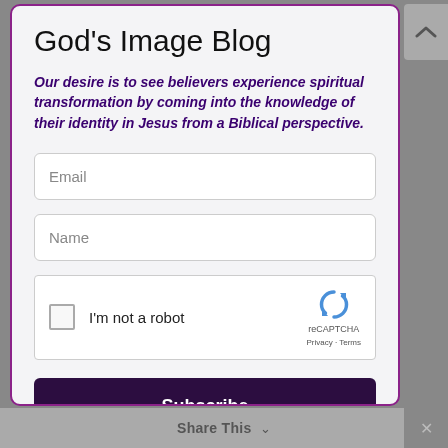God's Image Blog
Our desire is to see believers experience spiritual transformation by coming into the knowledge of their identity in Jesus from a Biblical perspective.
[Figure (screenshot): Email input field with placeholder text 'Email']
[Figure (screenshot): Name input field with placeholder text 'Name']
[Figure (screenshot): reCAPTCHA widget with checkbox labeled 'I'm not a robot' and reCAPTCHA logo with Privacy - Terms links]
Subscribe
Share This ∨